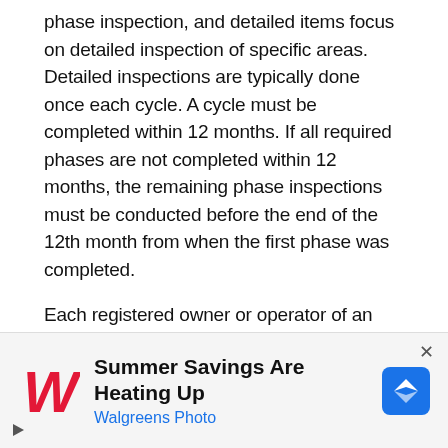phase inspection, and detailed items focus on detailed inspection of specific areas. Detailed inspections are typically done once each cycle. A cycle must be completed within 12 months. If all required phases are not completed within 12 months, the remaining phase inspections must be conducted before the end of the 12th month from when the first phase was completed.
Each registered owner or operator of an aircraft desiring to use a progressive inspection program must submit a written request to the FAA Flight Standards District Office (FSDO) having jurisdiction over the area that the applicant is located. Section
[Figure (other): Walgreens advertisement banner: 'Summer Savings Are Heating Up' with Walgreens Photo logo and navigation icon]